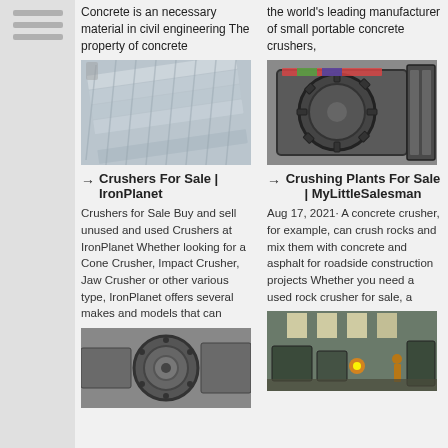Concrete is an necessary material in civil engineering The property of concrete
the world's leading manufacturer of small portable concrete crushers,
[Figure (photo): Metal corrugated sheets stacked together]
[Figure (photo): Industrial crusher machinery with gears and rollers]
→ Crushers For Sale | IronPlanet
→ Crushing Plants For Sale | MyLittleSalesman
Crushers for Sale Buy and sell unused and used Crushers at IronPlanet Whether looking for a Cone Crusher, Impact Crusher, Jaw Crusher or other various type, IronPlanet offers several makes and models that can
Aug 17, 2021· A concrete crusher, for example, can crush rocks and mix them with concrete and asphalt for roadside construction projects Whether you need a used rock crusher for sale, a
[Figure (photo): Close-up of industrial crusher mechanical component]
[Figure (photo): Industrial manufacturing plant interior with workers and equipment]